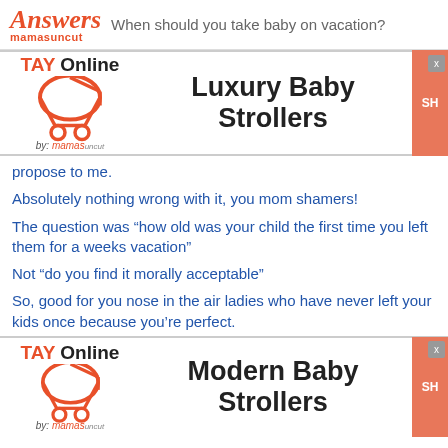Answers mamasuncut — When should you take baby on vacation?
[Figure (logo): TAY Online by mamas ad banner for Luxury Baby Strollers with orange stroller logo and orange SHOP button]
propose to me.
Absolutely nothing wrong with it, you mom shamers!
The question was “how old was your child the first time you left them for a weeks vacation”
Not “do you find it morally acceptable”
So, good for you nose in the air ladies who have never left your kids once because you’re perfect.
[Figure (logo): TAY Online by mamas ad banner for Modern Baby Strollers with orange stroller logo and orange SHOP button]